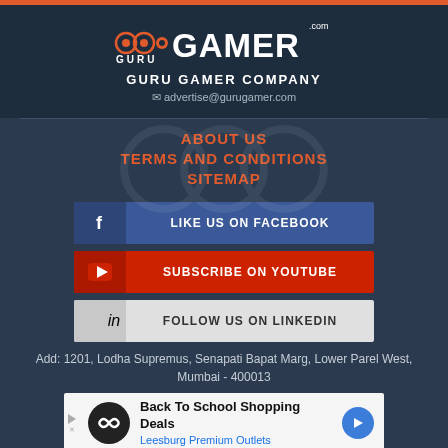[Figure (logo): GuruGamer.com logo with icon and large bold text]
GURU GAMER COMPANY
✉ advertise@gurugamer.com
ABOUT US
TERMS AND CONDITIONS
SITEMAP
[Figure (infographic): LIKE US ON FACEBOOK button with Facebook icon]
[Figure (infographic): SUBSCRIBE ON YOUTUBE button with YouTube icon]
[Figure (infographic): FOLLOW US ON LINKEDIN button with LinkedIn icon]
Add: 1201, Lodha Supremus, Senapati Bapat Marg, Lower Parel West, Mumbai - 400013
[Figure (infographic): Back To School Shopping Deals - Leesburg Premium Outlets advertisement banner]